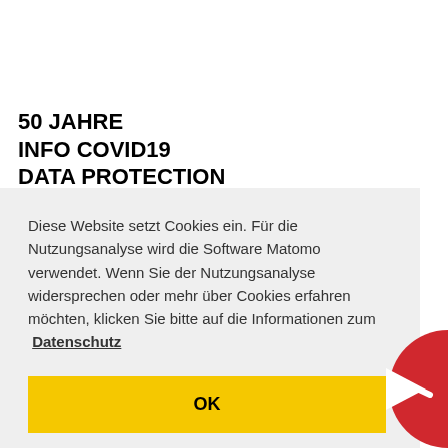50 JAHRE
INFO COVID19
DATA PROTECTION
Diese Website setzt Cookies ein. Für die Nutzungsanalyse wird die Software Matomo verwendet. Wenn Sie der Nutzungsanalyse widersprechen oder mehr über Cookies erfahren möchten, klicken Sie bitte auf die Informationen zum Datenschutz
OK